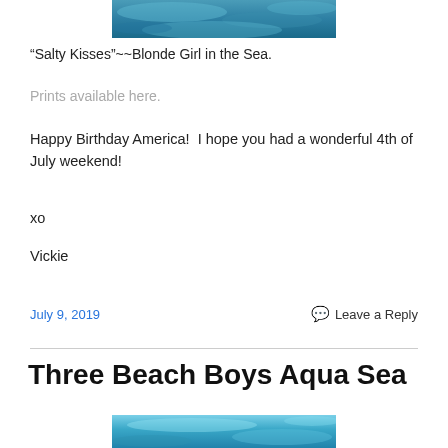[Figure (photo): Partial view of ocean/water painting with blue tones at top of page]
“Salty Kisses”~~Blonde Girl in the Sea.
Prints available here.
Happy Birthday America!  I hope you had a wonderful 4th of July weekend!
xo
Vickie
July 9, 2019    Leave a Reply
Three Beach Boys Aqua Sea
[Figure (photo): Partial view of ocean/beach painting with blue and aqua tones at bottom of page]